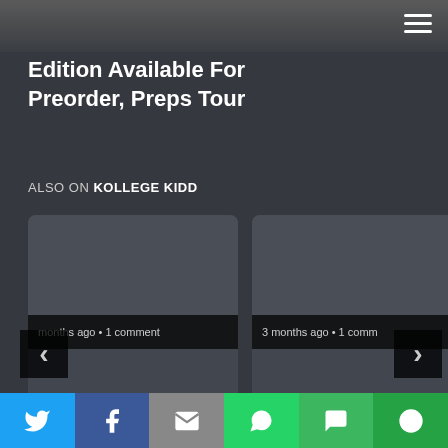Edition Available For Preorder, Preps Tour
ALSO ON KOLLEGE KIDD
[Figure (screenshot): Two card previews showing articles with metadata '• months ago • 1 comment' and '3 months ago • 1 comm' with left and right navigation arrows]
Share bar with Twitter, Facebook, Email, WhatsApp, SMS, More buttons